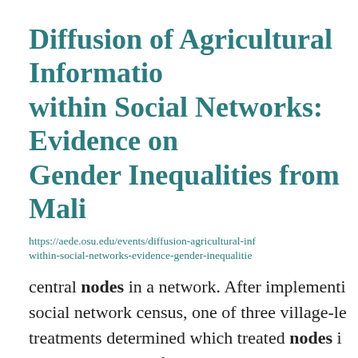Diffusion of Agricultural Information within Social Networks: Evidence on Gender Inequalities from Mali
https://aede.osu.edu/events/diffusion-agricultural-inf within-social-networks-evidence-gender-inequalitie
central nodes in a network. After implementi social network census, one of three village-le treatments determined which treated nodes i village received information about compostin random ... assignment, nodes with the highes degree, or nodes with high betweenness. We information diffusion ...
Celebrating Buckeyes